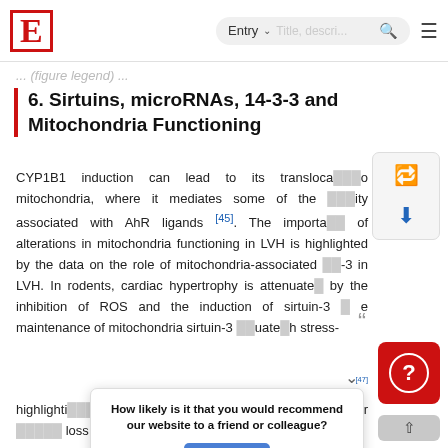E  Entry  Title, description...  [search] [menu]
... (figure legend) ...
6. Sirtuins, microRNAs, 14-3-3 and Mitochondria Functioning
CYP1B1 induction can lead to its translocation to mitochondria, where it mediates some of the toxicity associated with AhR ligands [45]. The importance of alterations in mitochondria functioning in LVH is highlighted by the data on the role of mitochondria-associated 14-3-3 in LVH. In rodents, cardiac hypertrophy is attenuated by the inhibition of ROS and the induction of sirtuin-3 [46] e maintenance of mitochondria sirtuin-3 adequate with stress- [47] highlighting a functioning omyocyte cellular loss of
How likely is it that you would recommend our website to a friend or colleague?  Reply